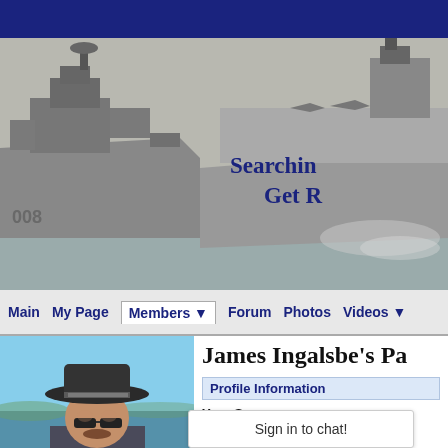[Figure (photo): Black and white photograph of two naval warships at sea, a destroyer/frigate in the foreground and an aircraft carrier in the background. Bold dark blue text overlaid reads 'Searchin... Get R...' (partially visible).]
Main | My Page | Members ▼ | Forum | Photos | Videos ▼
[Figure (photo): Profile photo of a man wearing a black cowboy hat with decorative band and sunglasses, outdoors with blue sky and water in background.]
James Ingalsbe's Pa
Profile Information
Your Sa...
Sign in to chat!